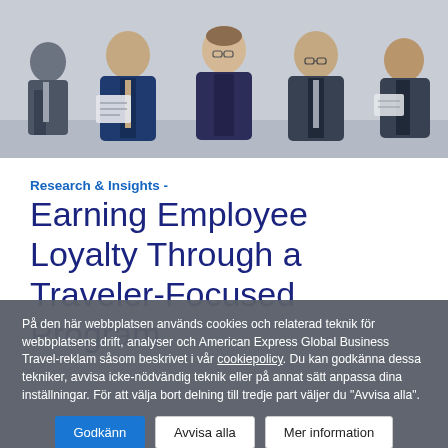[Figure (photo): Five business professionals in formal attire seated against a white brick wall, reading documents and looking downward.]
Research & Insights -
Earning Employee Loyalty Through a Traveler-Focused Program
På den här webbplatsen används cookies och relaterad teknik för webbplatsens drift, analyser och American Express Global Business Travel-reklam såsom beskrivet i vår cookiepolicy. Du kan godkänna dessa tekniker, avvisa icke-nödvändig teknik eller på annat sätt anpassa dina inställningar. För att välja bort delning till tredje part väljer du "Avvisa alla".